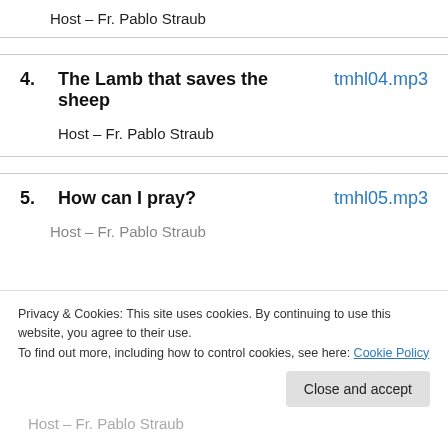Host – Fr. Pablo Straub
4. The Lamb that saves the sheep   tmhl04.mp3
Host – Fr. Pablo Straub
5. How can I pray?   tmhl05.mp3
Host – Fr. Pablo Straub
Privacy & Cookies: This site uses cookies. By continuing to use this website, you agree to their use.
To find out more, including how to control cookies, see here: Cookie Policy
Close and accept
Host – Fr. Pablo Straub